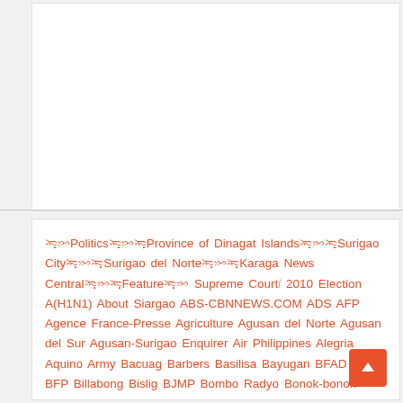[Figure (other): White blank content area / advertisement placeholder at the top of the page]
ᜁᜓᜅPoliticsᜁᜓᜅᜁᜓProvince of Dinagat IslandsᜁᜓᜅᜁᜓSurigao CityᜁᜓᜅᜁᜓSurigao del NorteᜁᜓᜅᜁᜓKaraga News CentralᜁᜓᜅᜁᜓFeatureᜁᜓᜅ Supreme Court᜵ 2010 Election A(H1N1) About Siargao ABS-CBNNEWS.COM ADS AFP Agence France-Presse Agriculture Agusan del Norte Agusan del Sur Agusan-Surigao Enquirer Air Philippines Alegria Aquino Army Bacuag Barbers Basilisa Bayugan BFAD BFAR BFP Billabong Bislig BJMP Bombo Radyo Bonok-bonok